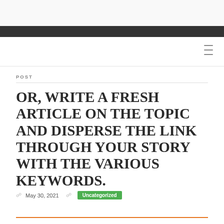POST
OR, WRITE A FRESH ARTICLE ON THE TOPIC AND DISPERSE THE LINK THROUGH YOUR STORY WITH THE VARIOUS KEYWORDS.
May 30, 2021  Uncategorized